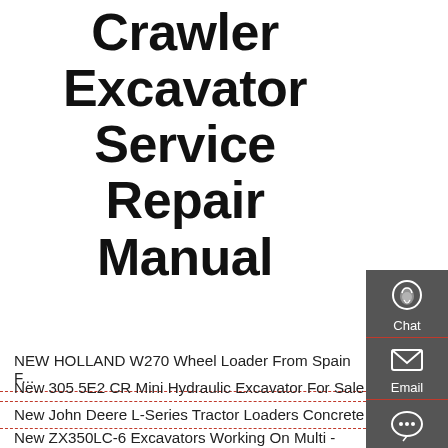Crawler Excavator Service Repair Manual
NEW HOLLAND W270 Wheel Loader From Spain F...
New 305 5E2 CR Mini Hydraulic Excavator For Sale
New John Deere L-Series Tractor Loaders Concrete
New ZX350LC-6 Excavators Working On Multi - Hitachi
NEW Whacker Neuson WHEEL LOADER 5055 - Heavy